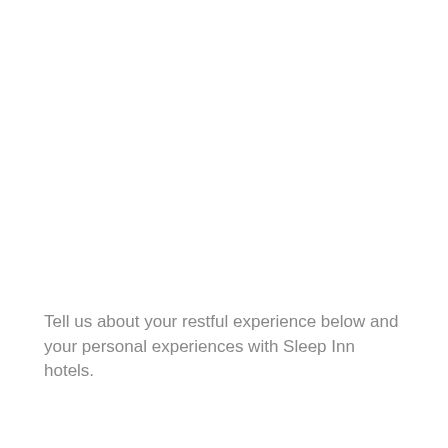Tell us about your restful experience below and your personal experiences with Sleep Inn hotels.